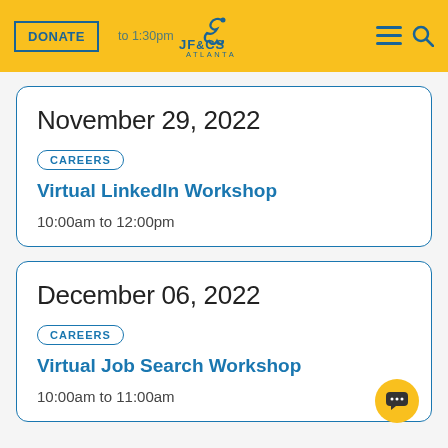DONATE | JF&CS Atlanta | [menu] [search]
November 29, 2022
CAREERS
Virtual LinkedIn Workshop
10:00am to 12:00pm
December 06, 2022
CAREERS
Virtual Job Search Workshop
10:00am to 11:00am